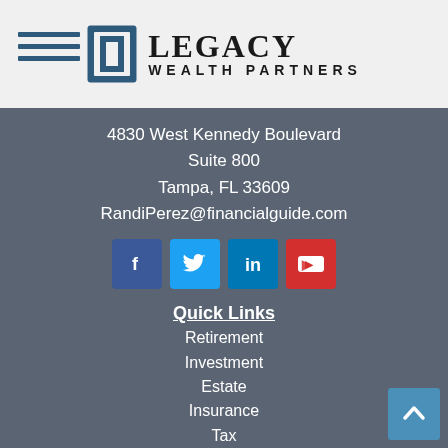Legacy Wealth Partners
4830 West Kennedy Boulevard
Suite 800
Tampa, FL 33609
RandiPerez@financialguide.com
[Figure (illustration): Social media icons: Facebook (blue), Twitter (light blue), LinkedIn (dark blue), YouTube (red)]
Quick Links
Retirement
Investment
Estate
Insurance
Tax
Money
Lifestyle
All Articles
All Videos
All Podcasts